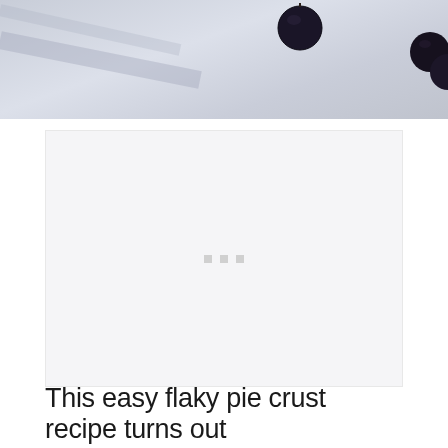[Figure (photo): Top portion of a photo showing blueberries scattered on a light stone/marble surface with soft shadows]
[Figure (other): Advertisement placeholder box with three small gray square dots in the center]
This easy flaky pie crust recipe turns out